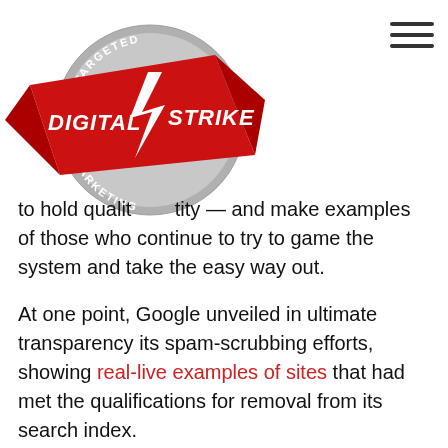[Figure (logo): Digital Strike Targeted Marketing logo — red banner with lightning bolt, grey circle with 'TARGETED MARKETING' text around the outside]
to hold quality [obscured by logo] tity — and make examples of those who continue to try to game the system and take the easy way out.
At one point, Google unveiled in ultimate transparency its spam-scrubbing efforts, showing real-live examples of sites that had met the qualifications for removal from its search index.
These advances have made it tougher for those who choose not to put in the work to circumvent quality standards, but they have also upped the expectations for the rest of the field.
Nowadays, you either agree to go all-in with a